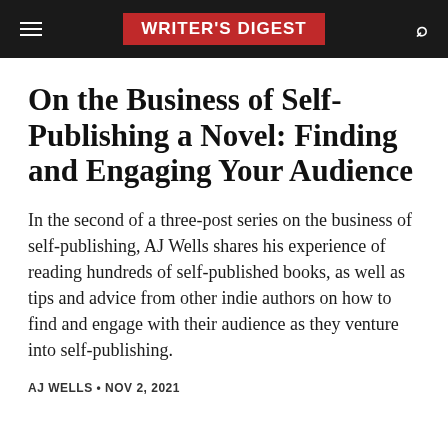WRITER'S DIGEST
On the Business of Self-Publishing a Novel: Finding and Engaging Your Audience
In the second of a three-post series on the business of self-publishing, AJ Wells shares his experience of reading hundreds of self-published books, as well as tips and advice from other indie authors on how to find and engage with their audience as they venture into self-publishing.
AJ WELLS • NOV 2, 2021